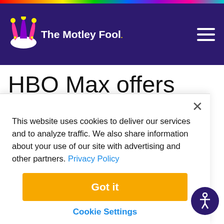The Motley Fool
HBO Max offers subscribers the most bang for their buck. Yet it's the streaming service consumers are least interested in. Something
This website uses cookies to deliver our services and to analyze traffic. We also share information about your use of our site with advertising and other partners. Privacy Policy
Got it
Cookie Settings